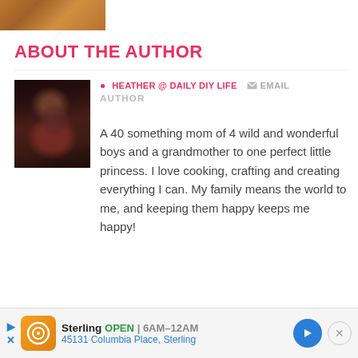[Figure (photo): Partial photo visible at top of page, warm tones suggesting food or decorative item]
ABOUT THE AUTHOR
[Figure (photo): Author photo showing a woman holding a young child/toddler, dark background]
HEATHER @ DAILY DIY LIFE   EMAIL
AUTHOR
A 40 something mom of 4 wild and wonderful boys and a grandmother to one perfect little princess. I love cooking, crafting and creating everything I can. My family means the world to me, and keeping them happy keeps me happy!
[Figure (infographic): Advertisement banner: Sterling restaurant, OPEN 6AM-12AM, 45131 Columbia Place, Sterling]